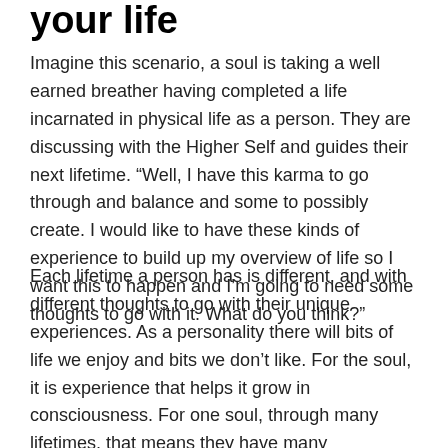your life
Imagine this scenario, a soul is taking a well earned breather having completed a life incarnated in physical life as a person. They are discussing with the Higher Self and guides their next lifetime. “Well, I have this karma to go through and balance and some to possibly create. I would like to have these kinds of experience to build up my overview of life so I want this to happen and I’m going to need some thoughts to go with it. What do you think?”
Each lifetime a person has is different, and with different thoughts to go with their unique experiences. As a personality there will bits of life we enjoy and bits we don’t like. For the soul, it is experience that helps it grow in consciousness. For one soul, through many lifetimes, that means they have many personalities. So in one life, the soul can have a life as a royal person and have the